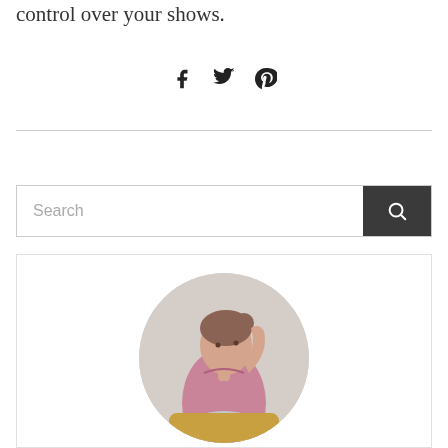control over your shows.
[Figure (infographic): Social media share icons: Facebook (f), Twitter (bird), Pinterest (P)]
[Figure (other): Search bar with text input placeholder 'Search' and dark search button with magnifying glass icon]
[Figure (photo): Circular cropped photo of a young woman in a pink sleeveless top, hand raised to her head, seated on a golden chair against a light background]
Lorem ipsum dolor sit amet